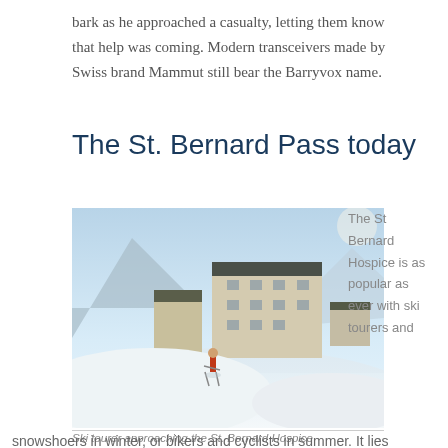bark as he approached a casualty, letting them know that help was coming. Modern transceivers made by Swiss brand Mammut still bear the Barryvox name.
The St. Bernard Pass today
[Figure (photo): Ski tourer approaching the St. Bernard Hospice in a snowy alpine landscape with large stone buildings in the background]
Ski tourer approaching the St. Bernard Hospice
The St Bernard Hospice is as popular as ever with ski tourers and
snowshoers in winter, or bikers and cyclists in summer. It lies